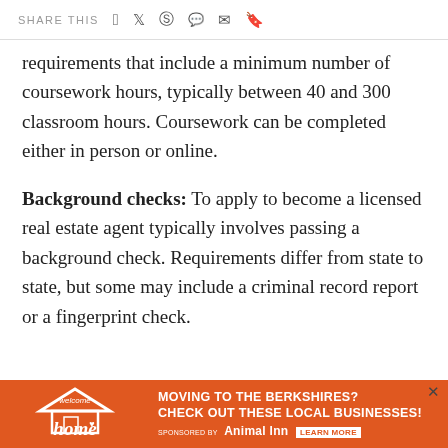SHARE THIS
requirements that include a minimum number of coursework hours, typically between 40 and 300 classroom hours. Coursework can be completed either in person or online.
Background checks: To apply to become a licensed real estate agent typically involves passing a background check. Requirements differ from state to state, but some may include a criminal record report or a fingerprint check.
[Figure (infographic): Advertisement banner: 'MOVING TO THE BERKSHIRES? CHECK OUT THESE LOCAL BUSINESSES! SPONSORED BY Animal Inn LEARN MORE' with Welcome Home logo on orange background.]